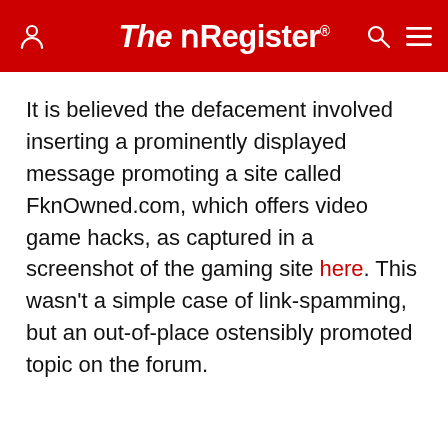The Register
It is believed the defacement involved inserting a prominently displayed message promoting a site called FknOwned.com, which offers video game hacks, as captured in a screenshot of the gaming site here. This wasn't a simple case of link-spamming, but an out-of-place ostensibly promoted topic on the forum.